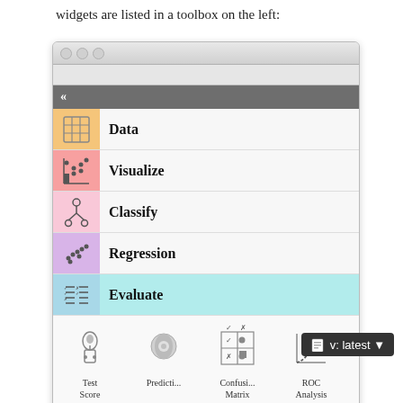widgets are listed in a toolbox on the left:
[Figure (screenshot): macOS-style application window showing a toolbox sidebar with categories: Data, Visualize, Classify, Regression, Evaluate (expanded, showing Test Score, Predicti..., Confusi... Matrix, ROC Analysis, Lift Curve, Calibra... Plot sub-widgets), and Unsupervised at the bottom.]
v: latest